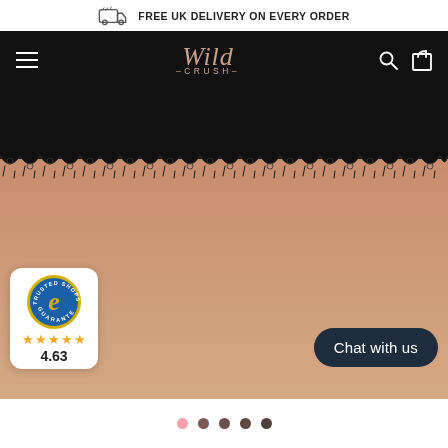FREE UK DELIVERY ON EVERY ORDER
[Figure (screenshot): Wild Crush brand navigation bar with hamburger menu, Wild Crush logo in rose-gold italic font on black background, search and cart icons]
[Figure (photo): Close-up rear view of woman wearing black lace-trim lingerie shorts, showing hips and thighs against skin-toned background]
[Figure (logo): Trusted Shops guarantee badge — circular blue badge with gold 'e' letter and yellow star border, showing 4 stars and rating 4.63]
Chat with us
[Figure (other): Image carousel navigation dots — five dots in shades from pink to dark brown, first dot active in pink]